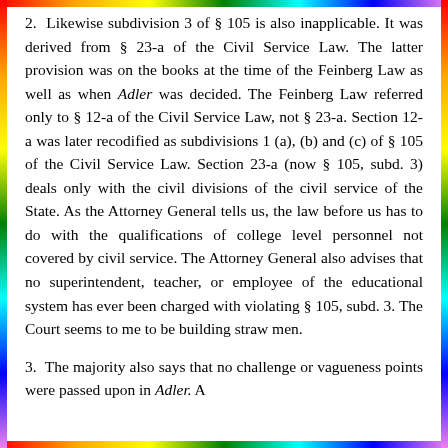2. Likewise subdivision 3 of § 105 is also inapplicable. It was derived from § 23-a of the Civil Service Law. The latter provision was on the books at the time of the Feinberg Law as well as when Adler was decided. The Feinberg Law referred only to § 12-a of the Civil Service Law, not § 23-a. Section 12-a was later recodified as subdivisions 1 (a), (b) and (c) of § 105 of the Civil Service Law. Section 23-a (now § 105, subd. 3) deals only with the civil divisions of the civil service of the State. As the Attorney General tells us, the law before us has to do with the qualifications of college level personnel not covered by civil service. The Attorney General also advises that no superintendent, teacher, or employee of the educational system has ever been charged with violating § 105, subd. 3. The Court seems to me to be building straw men.
3. The majority also says that no challenge or vagueness points were passed upon in Adler. A